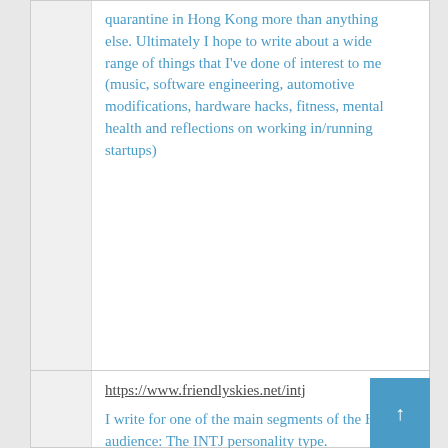quarantine in Hong Kong more than anything else. Ultimately I hope to write about a wide range of things that I've done of interest to me (music, software engineering, automotive modifications, hardware hacks, fitness, mental health and reflections on working in/running startups)
https://www.friendlyskies.net/intj
I write for one of the main segments of the HN audience: The INTJ personality type.
If you...
– Tend to focus on contingency planning and anticipating future moves / events